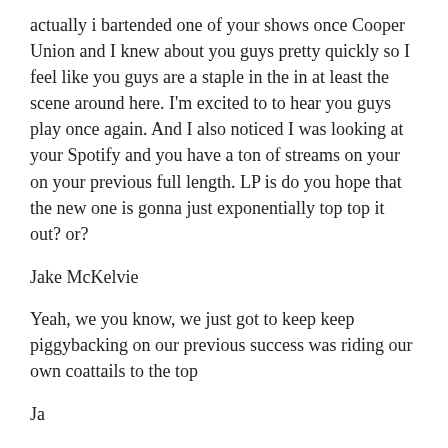actually i bartended one of your shows once Cooper Union and I knew about you guys pretty quickly so I feel like you guys are a staple in the in at least the scene around here. I'm excited to to hear you guys play once again. And I also noticed I was looking at your Spotify and you have a ton of streams on your on your previous full length. LP is do you hope that the new one is gonna just exponentially top top it out? or?
Jake McKelvie
Yeah, we you know, we just got to keep keep piggybacking on our previous success was riding our own coattails to the top
Ja
your shot mini monster has 83,000 streams. That's,